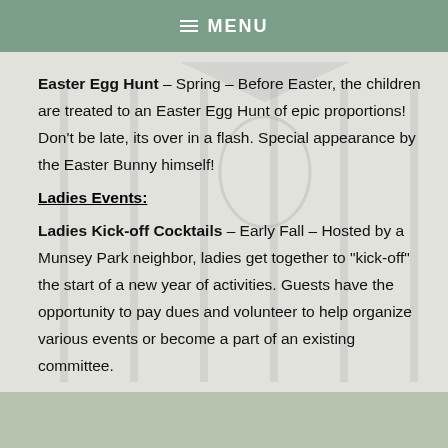≡ MENU
Easter Egg Hunt – Spring – Before Easter, the children are treated to an Easter Egg Hunt of epic proportions! Don't be late, its over in a flash. Special appearance by the Easter Bunny himself!
Ladies Events:
Ladies Kick-off Cocktails – Early Fall – Hosted by a Munsey Park neighbor, ladies get together to "kick-off" the start of a new year of activities. Guests have the opportunity to pay dues and volunteer to help organize various events or become a part of an existing committee.